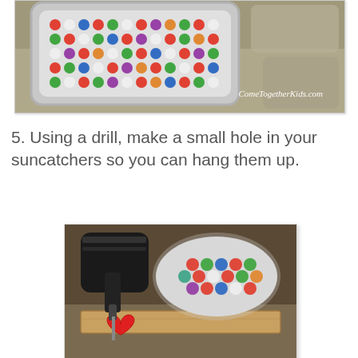[Figure (photo): Top-down view of colorful pony beads arranged in a gray plastic tray on a stone surface, with ComeTogetherKids.com watermark]
5.  Using a drill, make a small hole in your suncatchers so you can hang them up.
[Figure (photo): Photo of a drill making a hole in a colorful melted bead suncatcher, with a wooden board and a red heart-shaped suncatcher visible]